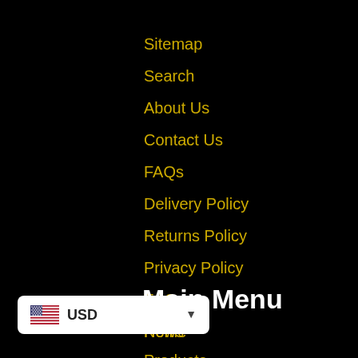Sitemap
Search
About Us
Contact Us
FAQs
Delivery Policy
Returns Policy
Privacy Policy
T&Cs
News
Main Menu
Home
Products
Men's
[Figure (other): Currency selector widget showing US flag and USD with dropdown arrow]